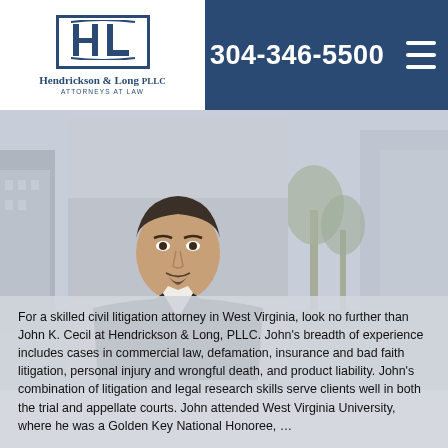Hendrickson & Long PLLC | Attorneys at Law | 304-346-5500
[Figure (photo): Professional headshot of John K. Cecil, attorney, wearing a dark suit and red tie, against an outdoor background]
For a skilled civil litigation attorney in West Virginia, look no further than John K. Cecil at Hendrickson & Long, PLLC. John’s breadth of experience includes cases in commercial law, defamation, insurance and bad faith litigation, personal injury and wrongful death, and product liability. John’s combination of litigation and legal research skills serve clients well in both the trial and appellate courts. John attended West Virginia University, where he was a Golden Key National Honoree, …